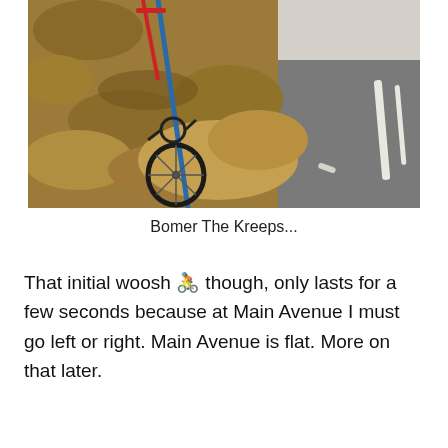[Figure (photo): A bicycle leaning against a rocky embankment beside a road. The terrain is dry and sandy/rocky. A paved road with a white stripe is visible on the right side of the image.]
Bomer The Kreeps...
That initial woosh 🚴 though, only lasts for a few seconds because at Main Avenue I must go left or right. Main Avenue is flat. More on that later.